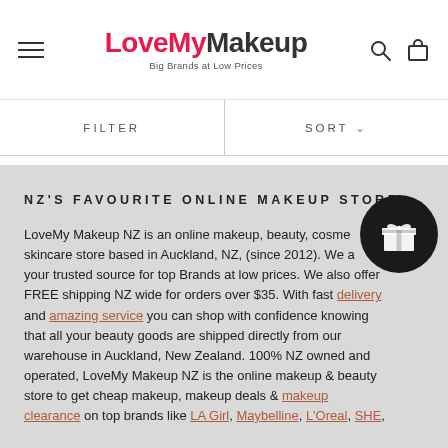LoveMy Makeup — Big Brands at Low Prices
FILTER
SORT
NZ'S FAVOURITE ONLINE MAKEUP STORE
LoveMy Makeup NZ is an online makeup, beauty, cosmetics and skincare store based in Auckland, NZ, (since 2012). We are your trusted source for top Brands at low prices. We also offer FREE shipping NZ wide for orders over $35. With fast delivery and amazing service you can shop with confidence knowing that all your beauty goods are shipped directly from our warehouse in Auckland, New Zealand. 100% NZ owned and operated, LoveMy Makeup NZ is the online makeup & beauty store to get cheap makeup, makeup deals & makeup clearance on top brands like LA Girl, Maybelline, L'Oreal, SHE,